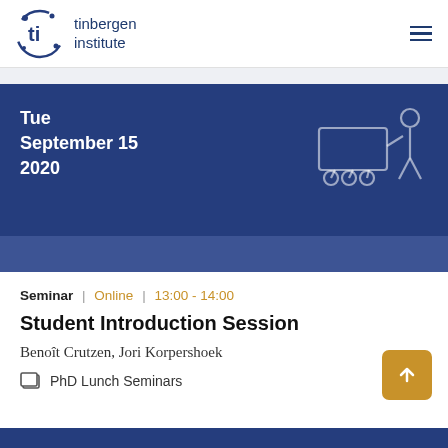tinbergen institute
[Figure (illustration): Dark blue banner with date 'Tue September 15 2020' and a line-art icon of a person presenting at a board/projector on wheels]
Seminar | Online | 13:00 - 14:00
Student Introduction Session
Benoît Crutzen, Jori Korpershoek
PhD Lunch Seminars